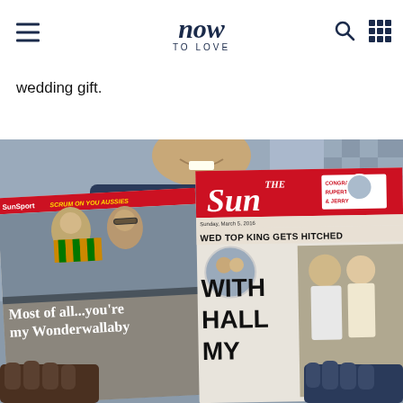now to love — navigation header with hamburger menu, logo, search and grid icons
wedding gift.
[Figure (photo): A man holds up a copy of The Sun newspaper showing headlines about Rupert Murdoch's wedding to Jerry Hall. The left side shows a SunSport page with 'SCRUM ON YOU AUSSIES' and text 'Most of all...you're my Wonderwallaby'. The right side shows The Sun front page with 'WED TOP KING GETS HITCHED' and 'WITH HALL MY' with photos of Rupert Murdoch and Jerry Hall and a 'CONGRATS RUPERT & JERRY' box.]